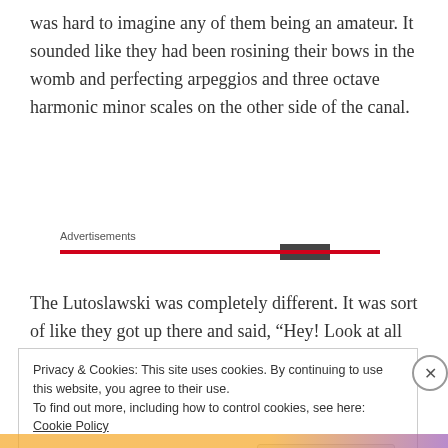was hard to imagine any of them being an amateur. It sounded like they had been rosining their bows in the womb and perfecting arpeggios and three octave harmonic minor scales on the other side of the canal.
Advertisements
[Figure (other): Advertisement banner with red bar and partial image thumbnail]
The Lutoslawski was completely different. It was sort of like they got up there and said, “Hey! Look at all the sounds we can make with these things!”
Privacy & Cookies: This site uses cookies. By continuing to use this website, you agree to their use.
To find out more, including how to control cookies, see here: Cookie Policy
Close and accept